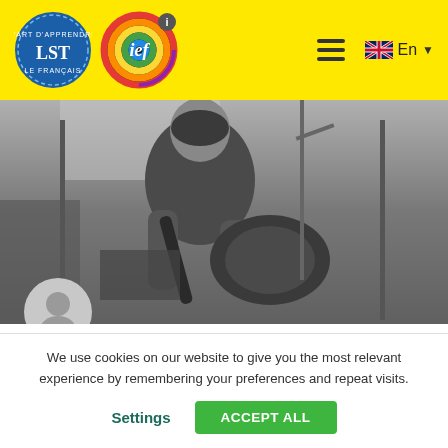[Figure (logo): LSF (L'Art d'Apprendre le Français) circular blue logo and IEF circular rainbow logo in yellow header, with hamburger menu and English language selector]
[Figure (photo): Black and white photo of a man playing guitar in a recording studio, with microphones visible]
[Figure (illustration): Grey circular avatar/user placeholder icon]
We use cookies on our website to give you the most relevant experience by remembering your preferences and repeat visits.
Settings
ACCEPT ALL